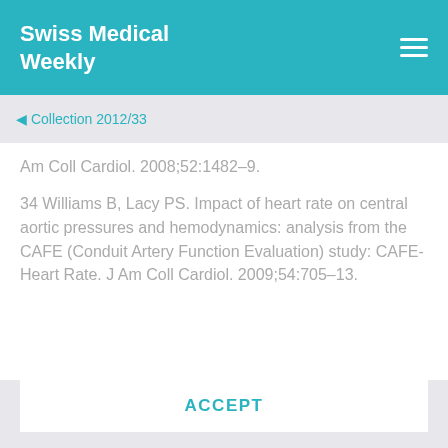Swiss Medical Weekly
Collection 2012/33
Am Coll Cardiol. 2008;52:1482–9.
34 Williams B, Lacy PS. Impact of heart rate on central aortic pressures and hemodynamics: analysis from the CAFE (Conduit Artery Function Evaluation) study: CAFE-Heart Rate. J Am Coll Cardiol. 2009;54:705–13.
In order to offer you a better user experience, we use cookies. Additional information can be found here..
ACCEPT